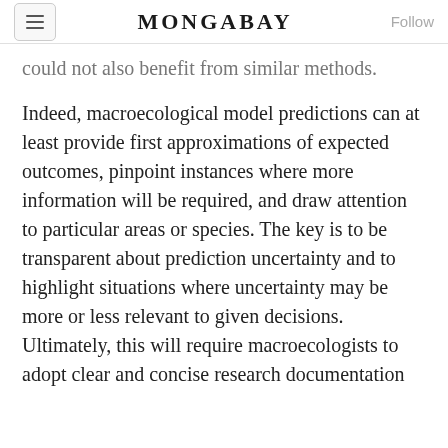MONGABAY
could not also benefit from similar methods.
Indeed, macroecological model predictions can at least provide first approximations of expected outcomes, pinpoint instances where more information will be required, and draw attention to particular areas or species. The key is to be transparent about prediction uncertainty and to highlight situations where uncertainty may be more or less relevant to given decisions. Ultimately, this will require macroecologists to adopt clear and concise research documentation